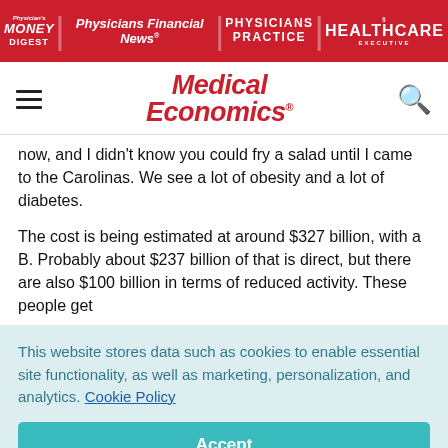Physician's Money Digest | Physicians Financial News | Physicians Practice | Healthcare Executive
[Figure (logo): Medical Economics logo with hamburger menu and search icon]
now, and I didn't know you could fry a salad until I came to the Carolinas. We see a lot of obesity and a lot of diabetes.
The cost is being estimated at around $327 billion, with a B. Probably about $237 billion of that is direct, but there are also $100 billion in terms of reduced activity. These people get
This website stores data such as cookies to enable essential site functionality, as well as marketing, personalization, and analytics. Cookie Policy
Accept
Deny